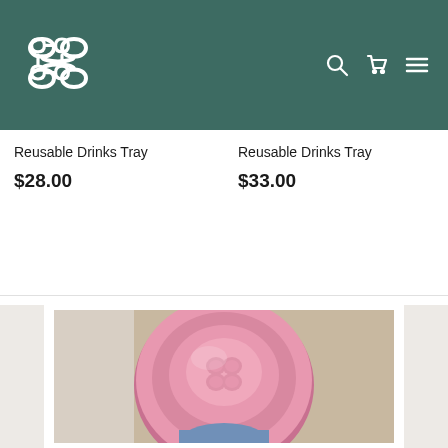[Figure (logo): Brand logo - decorative knot/infinity symbol in white on dark teal background]
Reusable Drinks Tray
$28.00
Reusable Drinks Tray
$33.00
[Figure (photo): Close-up top-down view of a pink silicone bottle cap/lid with embossed brand logo, on a light background]